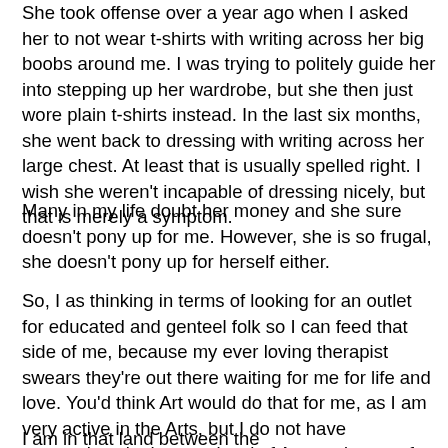She took offense over a year ago when I asked her to not wear t-shirts with writing across her big boobs around me. I was trying to politely guide her into stepping up her wardrobe, but she then just wore plain t-shirts instead. In the last six months, she went back to dressing with writing across her large chest. At least that is usually spelled right. I wish she weren't incapable of dressing nicely, but that is merely a symptom.
Many in my life doubt her money and she sure doesn't pony up for me. However, she is so frugal, she doesn't pony up for herself either.
So, I as thinking in terms of looking for an outlet for educated and genteel folk so I can feed that side of me, because my ever loving therapist swears they're out there waiting for me for life and love. You'd think Art would do that for me, as I am very active in the Arts, but I do not have connections in the next level of Arts and most of what I do is with other artists, not collectors.
I am in that land between the wealthy/educated/genteel and